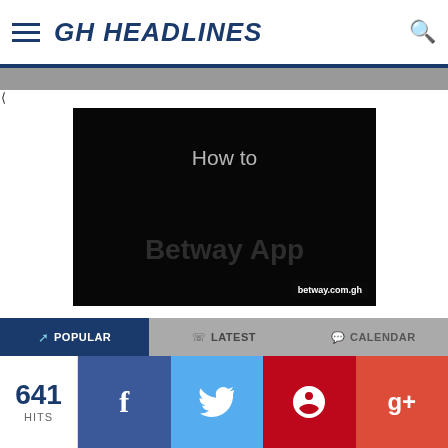GH HEADLINES
[Figure (screenshot): Video thumbnail with dark/black background showing 'How to' text in gray and 'Betway App' text in dark, with betway.com.gh URL label at bottom right]
POPULAR | LATEST | CALENDAR
641 HITS
f (Facebook share)
(Twitter share)
(Pinterest share)
g+ (Google Plus share)